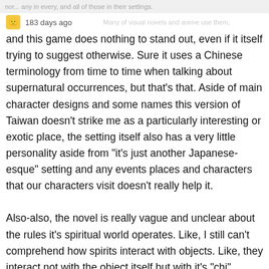nor... any in every, and all of those in their settings. Many of visual novels and anime use them,
183 days ago
and this game does nothing to stand out, even if it itself trying to suggest otherwise. Sure it uses a Chinese terminology from time to time when talking about supernatural occurrences, but that’s that. Aside of main character designs and some names this version of Taiwan doesn't strike me as a particularly interesting or exotic place, the setting itself also has a very little personality aside from “it’s just another Japanese-esque” setting and any events places and characters that our characters visit doesn’t really help it.

Also-also, the novel is really vague and unclear about the rules it’s spiritual world operates. Like, I still can’t comprehend how spirits interact with objects. Like, they interact not with the object itself but with it’s “chi”, which poses some questions, like, can spirits borrow object’s “Chi”